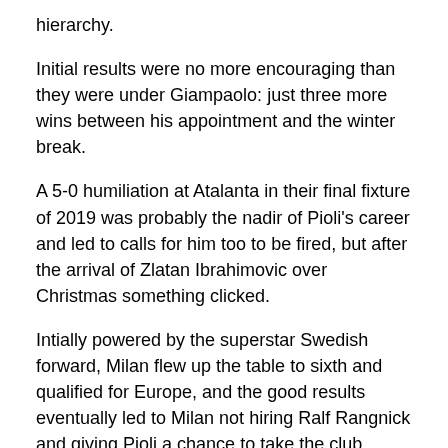hierarchy.
Initial results were no more encouraging than they were under Giampaolo: just three more wins between his appointment and the winter break.
A 5-0 humiliation at Atalanta in their final fixture of 2019 was probably the nadir of Pioli's career and led to calls for him too to be fired, but after the arrival of Zlatan Ibrahimovic over Christmas something clicked.
Intially powered by the superstar Swedish forward, Milan flew up the table to sixth and qualified for Europe, and the good results eventually led to Milan not hiring Ralf Rangnick and giving Pioli a chance to take the club forward.
That faith shown in him paid off for both him and the club, a hugely impressive second place last season now followed up with a league title that no-one expected at the start of the campaign.